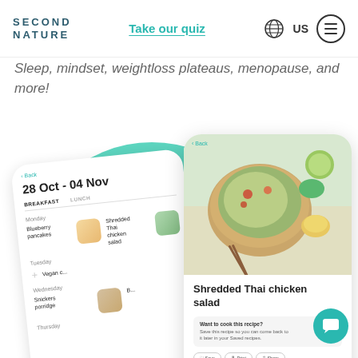SECOND NATURE | Take our quiz | US
Sleep, mindset, weightloss plateaus, menopause, and more!
[Figure (screenshot): Two smartphone screens showing the Second Nature app. Left phone shows a meal plan for 28 Oct - 04 Nov with breakfast and lunch tabs, featuring Blueberry pancakes, Shredded Thai chicken salad, and Snickers porridge entries for Monday, Tuesday, Wednesday, Thursday. Right phone shows a recipe detail page for 'Shredded Thai chicken salad' with a food photo, save/print/share buttons, cooking mode button, and prep and cooking time of 30 mins.]